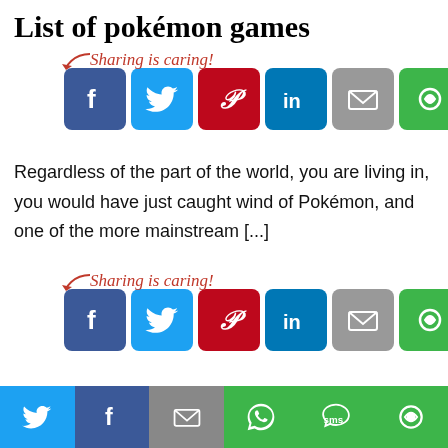List of pokémon games
[Figure (infographic): Sharing is caring! social share buttons: Facebook, Twitter, Pinterest, LinkedIn, Email, Cyfe]
Regardless of the part of the world, you are living in, you would have just caught wind of Pokémon, and one of the more mainstream [...]
[Figure (infographic): Second set of sharing buttons: Facebook, Twitter, Pinterest, LinkedIn, Email, Cyfe]
[Figure (infographic): Bottom share bar: Twitter, Facebook, Email, WhatsApp, SMS, Cyfe]